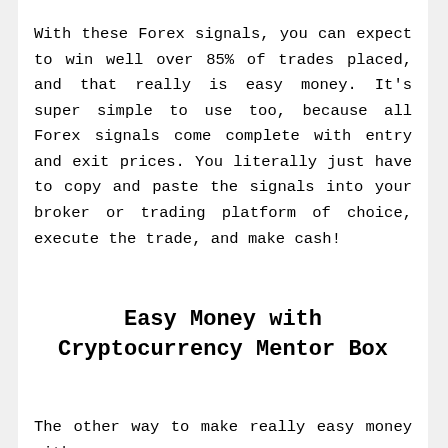With these Forex signals, you can expect to win well over 85% of trades placed, and that really is easy money. It's super simple to use too, because all Forex signals come complete with entry and exit prices. You literally just have to copy and paste the signals into your broker or trading platform of choice, execute the trade, and make cash!
Easy Money with Cryptocurrency Mentor Box
The other way to make really easy money with